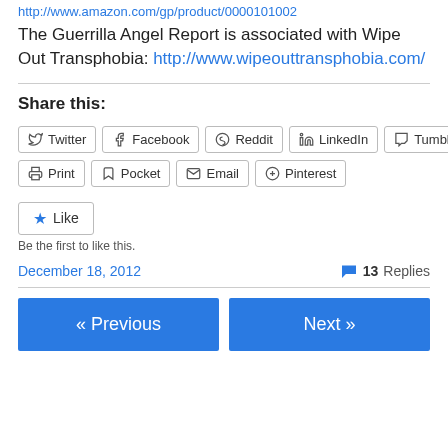http://www.amazon.com/gp/product/0000101002
The Guerrilla Angel Report is associated with Wipe Out Transphobia: http://www.wipeouttransphobia.com/
Share this:
Twitter Facebook Reddit LinkedIn Tumblr Print Pocket Email Pinterest
Like
Be the first to like this.
December 18, 2012
13 Replies
« Previous
Next »